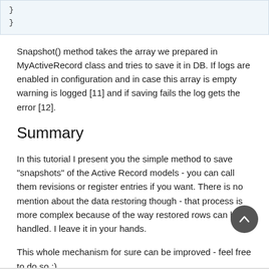}
    }
Snapshot() method takes the array we prepared in MyActiveRecord class and tries to save it in DB. If logs are enabled in configuration and in case this array is empty warning is logged [11] and if saving fails the log gets the error [12].
Summary
In this tutorial I present you the simple method to save "snapshots" of the Active Record models - you can call them revisions or register entries if you want. There is no mention about the data restoring though - that process is more complex because of the way restored rows can be handled. I leave it in your hands.
This whole mechanism for sure can be improved - feel free to do so :)